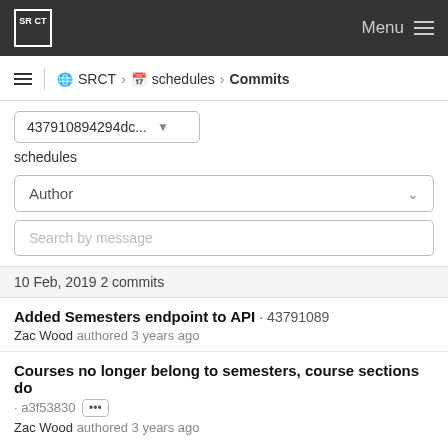SRCT Menu
SRCT > schedules > Commits
437910894294dc...
schedules
Author
Search by message
10 Feb, 2019 2 commits
Added Semesters endpoint to API · 43791089
Zac Wood authored 3 years ago
Courses no longer belong to semesters, course sections do · a3f53830 ···
Zac Wood authored 3 years ago